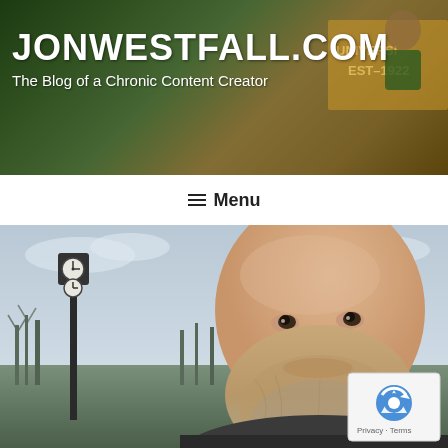[Figure (photo): Website header banner showing a man with a beard outdoors near a university sign reading EST-1922, with a dark overlay. Site title JONWESTFALL.COM and tagline 'The Blog of a Chronic Content Creator' overlaid in white text.]
JONWESTFALL.COM
The Blog of a Chronic Content Creator
≡ Menu
[Figure (photo): Outdoor selfie photo of a bald man with a reddish-blonde beard smiling slightly, with a clock tower visible to his left and bare winter trees in the background under an overcast sky. A reCAPTCHA badge with Privacy and Terms links appears in the lower right corner of the image.]